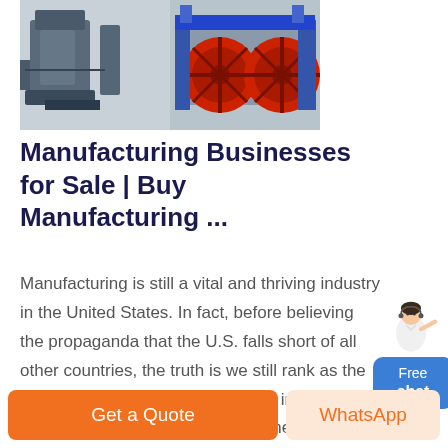[Figure (photo): Industrial manufacturing machinery - showing blue/grey industrial equipment on left and large red/orange wheel machinery on right]
Manufacturing Businesses for Sale | Buy Manufacturing ...
Manufacturing is still a vital and thriving industry in the United States. In fact, before believing the propaganda that the U.S. falls short of all other countries, the truth is we still rank as the second top manufacturing country in the world. In fact, manufacturing is one of America's largest industry sectors.
[Figure (illustration): Free chat widget - a person/agent figure above a blue rounded button with Free chat text]
Get a Quote
WhatsApp